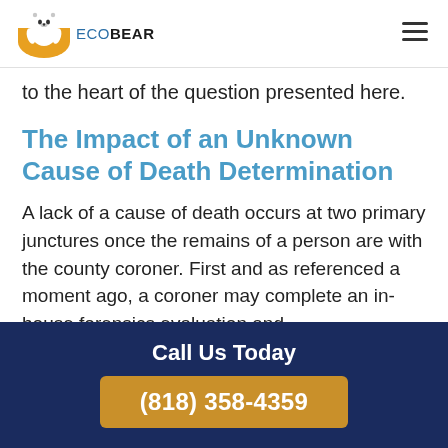ECOBEAR
to the heart of the question presented here.
The Impact of an Unknown Cause of Death Determination
A lack of a cause of death occurs at two primary junctures once the remains of a person are with the county coroner. First and as referenced a moment ago, a coroner may complete an in-house forensics evaluation and
Call Us Today
(818) 358-4359